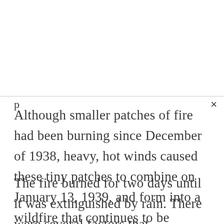Although smaller patches of fire had been burning since December of 1938, heavy, hot winds caused these tiny patches to combine on January 13, 1939, and form into a wildfire that continues to be labeled as the worst wildfire history 81 years later.
The fire burned for two days until it was extinguished by rain. There were several factors that contributed to the development of the wildfire... (continues)